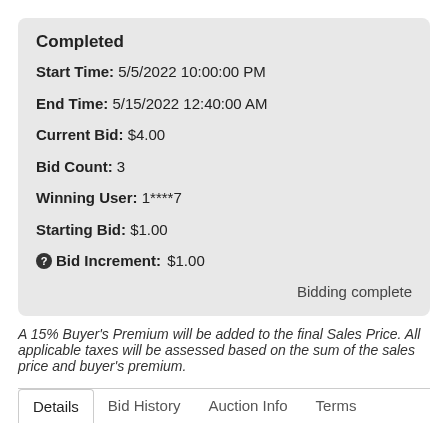Completed
Start Time: 5/5/2022 10:00:00 PM
End Time: 5/15/2022 12:40:00 AM
Current Bid: $4.00
Bid Count: 3
Winning User: 1****7
Starting Bid: $1.00
Bid Increment: $1.00
Bidding complete
A 15% Buyer's Premium will be added to the final Sales Price. All applicable taxes will be assessed based on the sum of the sales price and buyer's premium.
Details | Bid History | Auction Info | Terms